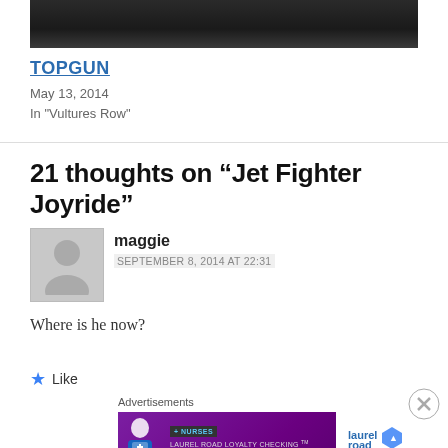[Figure (photo): Dark/black top image bar, screenshot of a webpage top]
TOPGUN
May 13, 2014
In "Vultures Row"
21 thoughts on “Jet Fighter Joyride”
maggie
SEPTEMBER 8, 2014 AT 22:31
Where is he now?
★ Like
Advertisements
[Figure (screenshot): Laurel Road loyalty checking advertisement banner: '+ NURSES LAUREL ROAD LOYALTY CHECKING Treat yourself with easy cash rewards.' with laurel road logo on right side]